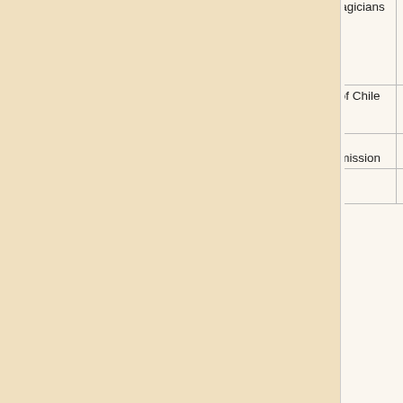| Country | Award Name | Awarding Body | Description |
| --- | --- | --- | --- |
| United States | Merlin Award | International Magicians Society | achieved the highest level in their craft both on the national and international stage |
| Chile | National Prize for Performing and Audiovisual Arts | National Prize of Chile | Person who has distinguished themselves by their achievements in the respective area of the arts |
| North Korea | People's Prize | People's Prize Awarding Commission | Best achievements in creative fields |
| United States | Princess Grace | Princess Grace Foundation | Theater, dance, and... |